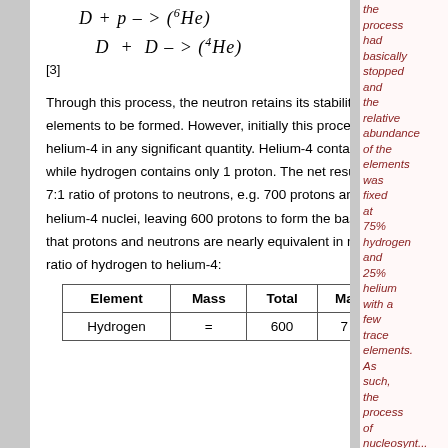[3]
Through this process, the neutron retains its stability, which ultimately allows heavier elements to be formed. However, initially this process only produces hydrogen and helium-4 in any significant quantity. Helium-4 contains 2 neutrons and 2 protons, while hydrogen contains only 1 proton. The net result of this process is based on a 7:1 ratio of protons to neutrons, e.g. 700 protons and 100 neutrons would create 50 helium-4 nuclei, leaving 600 protons to form the basis of 600 hydrogen nuclei. Given that protons and neutrons are nearly equivalent in mass, we get the following mass ratio of hydrogen to helium-4:
| Element | Mass | Total | Ma |
| --- | --- | --- | --- |
| Hydrogen | = | 600 | 7 |
the process had basically stopped and the relative abundance of the elements was fixed at 75% hydrogen and 25% helium with a few trace elements. As such, the process of nucleosynt...